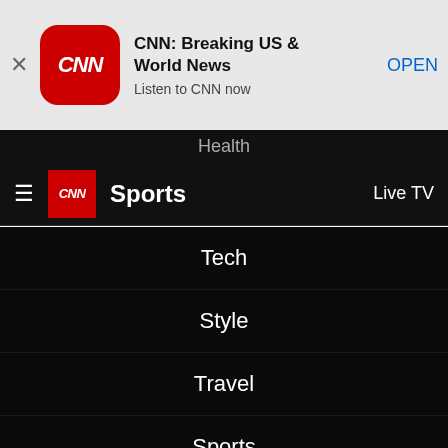[Figure (screenshot): Ad banner for CNN app with close button (X), CNN red rounded square logo, title 'CNN: Breaking US & World News', subtitle 'Listen to CNN now', and blue 'OPEN' link]
Health
CNN Sports — Live TV
Tech
Style
Travel
Sports
Videos
Features
Weather
More